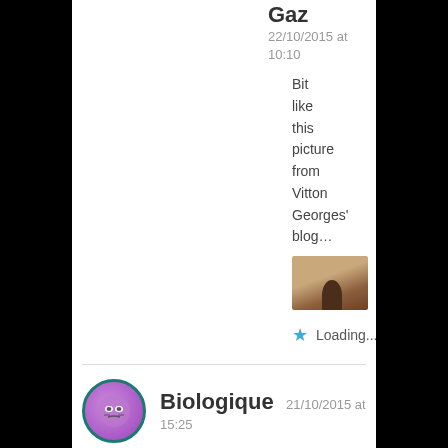Gaz
22/10/2015 at 10:10
Bit like this picture from Vitton Georges' blog…
[Figure (photo): Small thumbnail image showing a mountain or landscape in brown/red tones]
Loading...
Biologique  21/10/2015 at 15:25